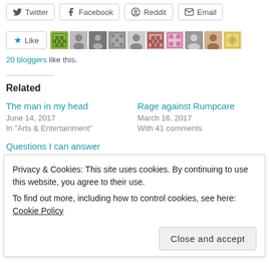Twitter
Facebook
Reddit
Email
[Figure (other): Like button with star icon followed by a row of 10 blogger avatar thumbnails]
20 bloggers like this.
Related
The man in my head
June 14, 2017
In "Arts & Entertainment"
Rage against Rumpcare
March 16, 2017
With 41 comments
Questions I can answer
August 25, 2017
Privacy & Cookies: This site uses cookies. By continuing to use this website, you agree to their use.
To find out more, including how to control cookies, see here: Cookie Policy